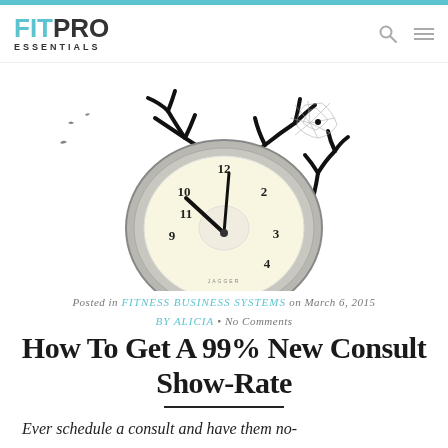FITPRO ESSENTIALS
[Figure (illustration): A vintage pocket clock/watch with bare tree branches and a spider web growing out of it, with birds flying in the background. Dark/gothic style illustration.]
Posted in FITNESS BUSINESS SYSTEMS on March 6, 2015 BY ALICIA • No Comments
How To Get A 99% New Consult Show-Rate
Ever schedule a consult and have them no-